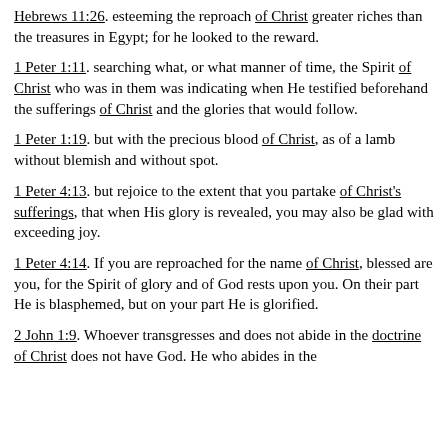Hebrews 11:26. esteeming the reproach of Christ greater riches than the treasures in Egypt; for he looked to the reward.
1 Peter 1:11. searching what, or what manner of time, the Spirit of Christ who was in them was indicating when He testified beforehand the sufferings of Christ and the glories that would follow.
1 Peter 1:19. but with the precious blood of Christ, as of a lamb without blemish and without spot.
1 Peter 4:13. but rejoice to the extent that you partake of Christ's sufferings, that when His glory is revealed, you may also be glad with exceeding joy.
1 Peter 4:14. If you are reproached for the name of Christ, blessed are you, for the Spirit of glory and of God rests upon you. On their part He is blasphemed, but on your part He is glorified.
2 John 1:9. Whoever transgresses and does not abide in the doctrine of Christ does not have God. He who abides in the